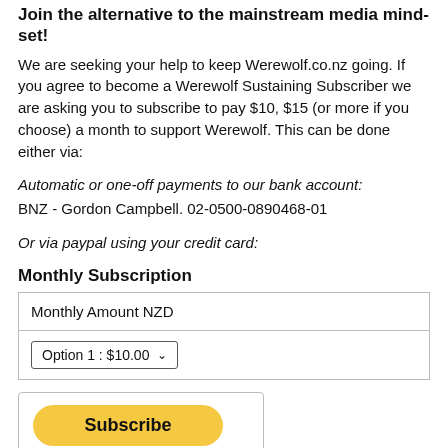Join the alternative to the mainstream media mind-set!
We are seeking your help to keep Werewolf.co.nz going. If you agree to become a Werewolf Sustaining Subscriber we are asking you to subscribe to pay $10, $15 (or more if you choose) a month to support Werewolf. This can be done either via:
Automatic or one-off payments to our bank account:
BNZ - Gordon Campbell. 02-0500-0890468-01
Or via paypal using your credit card:
Monthly Subscription
| Monthly Amount NZD |
| --- |
| Option 1 : $10.00 |
[Figure (other): PayPal Subscribe button with payment card icons (Visa, Mastercard, Maestro, American Express, Discover)]